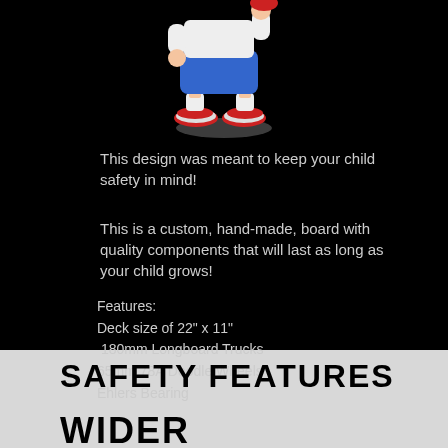[Figure (illustration): Cartoon illustration of a child (lower body visible) wearing blue shorts, white socks, and red sneakers, standing on a shadow/ground circle. The child appears to be holding something red near their face.]
This design was meant to keep your child safety in mind!
This is a custom, hand-made, board with quality components that will last as long as your child grows!
Features:
Deck size of 22" x 11"
180mm Longboard Trucks
65mm 78A Doodle Wheels
Ehlers Bearing
SAFETY FEATURES
WIDER